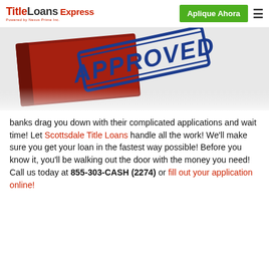TitleLoans Express — Powered by Nexus Prime Inc. | Aplique Ahora | ☰
[Figure (photo): Photo of a red book/folder with a blue rubber stamp reading 'APPROVED' stamped on it at an angle]
banks drag you down with their complicated applications and wait time! Let Scottsdale Title Loans handle all the work! We'll make sure you get your loan in the fastest way possible! Before you know it, you'll be walking out the door with the money you need! Call us today at 855-303-CASH (2274) or fill out your application online!